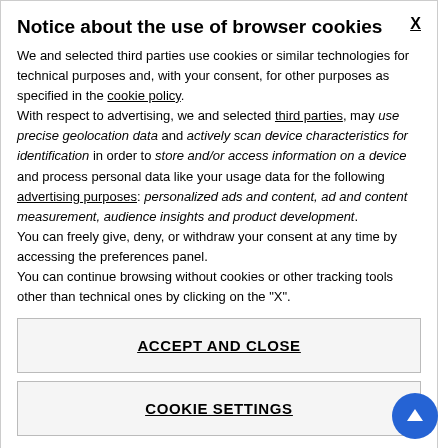Notice about the use of browser cookies
We and selected third parties use cookies or similar technologies for technical purposes and, with your consent, for other purposes as specified in the cookie policy. With respect to advertising, we and selected third parties, may use precise geolocation data and actively scan device characteristics for identification in order to store and/or access information on a device and process personal data like your usage data for the following advertising purposes: personalized ads and content, ad and content measurement, audience insights and product development. You can freely give, deny, or withdraw your consent at any time by accessing the preferences panel. You can continue browsing without cookies or other tracking tools other than technical ones by clicking on the "X".
ACCEPT AND CLOSE
COOKIE SETTINGS
Assists: Look “Assists Restrinction” in the table above.